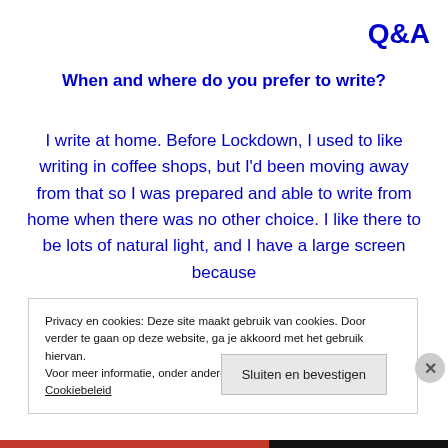Q&A
When and where do you prefer to write?
I write at home. Before Lockdown, I used to like writing in coffee shops, but I'd been moving away from that so I was prepared and able to write from home when there was no other choice. I like there to be lots of natural light, and I have a large screen because
Privacy en cookies: Deze site maakt gebruik van cookies. Door verder te gaan op deze website, ga je akkoord met het gebruik hiervan. Voor meer informatie, onder andere over cookiebeheer, bekijk je: Cookiebeleid
Sluiten en bevestigen